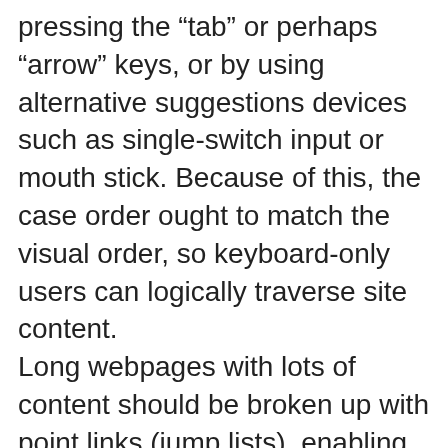pressing the “tab” or perhaps “arrow” keys, or by using alternative suggestions devices such as single-switch input or mouth stick. Because of this, the case order ought to match the visual order, so keyboard-only users can logically traverse site content. Long webpages with lots of content should be broken up with point links (jump lists), enabling keyboard-only users to by pass to relevant portions within the page while not having to negotiate through other content. “Skip to main content” should be presented at the top of every single page, and so keyboard-only users won't need to tab